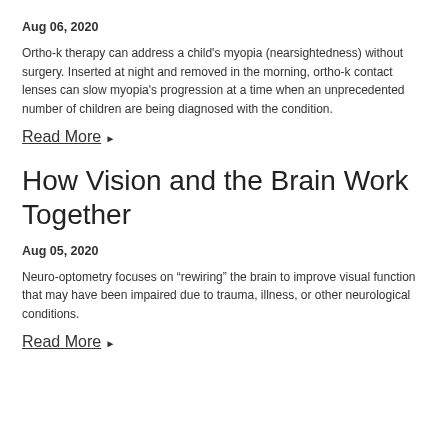Aug 06, 2020
Ortho-k therapy can address a child's myopia (nearsightedness) without surgery. Inserted at night and removed in the morning, ortho-k contact lenses can slow myopia's progression at a time when an unprecedented number of children are being diagnosed with the condition.
Read More ▶
How Vision and the Brain Work Together
Aug 05, 2020
Neuro-optometry focuses on “rewiring” the brain to improve visual function that may have been impaired due to trauma, illness, or other neurological conditions.
Read More ▶